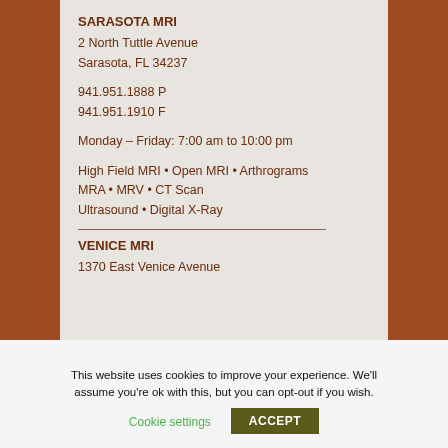SARASOTA MRI
2 North Tuttle Avenue
Sarasota, FL 34237
941.951.1888 P
941.951.1910 F
Monday – Friday: 7:00 am to 10:00 pm
High Field MRI • Open MRI • Arthrograms
MRA • MRV • CT Scan
Ultrasound • Digital X-Ray
VENICE MRI
1370 East Venice Avenue
This website uses cookies to improve your experience. We'll assume you're ok with this, but you can opt-out if you wish.
Cookie settings
ACCEPT